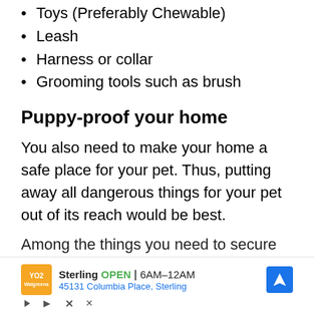Toys (Preferably Chewable)
Leash
Harness or collar
Grooming tools such as brush
Puppy-proof your home
You also need to make your home a safe place for your pet. Thus, putting away all dangerous things for your pet out of its reach would be best.
Among the things you need to secure
[Figure (other): Advertisement overlay for Sterling store showing logo, open hours 6AM-12AM, address 45131 Columbia Place, Sterling, and navigation icon]